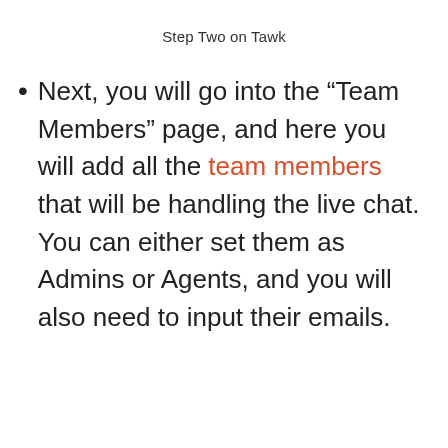Step Two on Tawk
Next, you will go into the “Team Members” page, and here you will add all the team members that will be handling the live chat. You can either set them as Admins or Agents, and you will also need to input their emails.